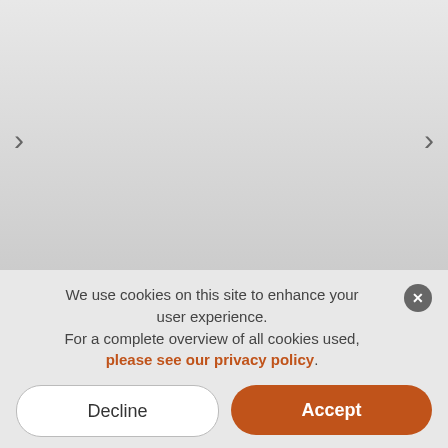[Figure (photo): A man with curly dark hair wearing an open gray zip-up hoodie over a dark gray t-shirt, photographed against a light gray background. Navigation arrows for a product image carousel are visible on the left and right sides.]
We use cookies on this site to enhance your user experience.
For a complete overview of all cookies used, please see our privacy policy.
Decline
Accept